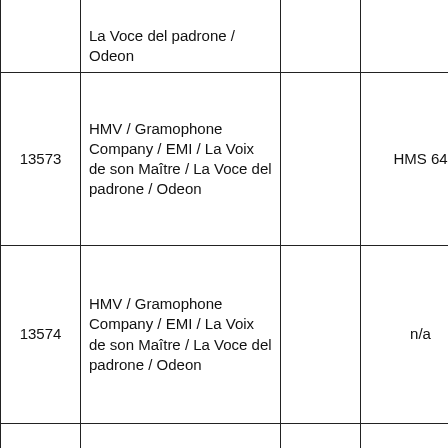|  | La Voce del padrone / Odeon |  |  | Mu |
| 13573 | HMV / Gramophone Company / EMI / La Voix de son Maître / La Voce del padrone / Odeon |  | HMS 64 | SE Sou Mu |
| 13574 | HMV / Gramophone Company / EMI / La Voix de son Maître / La Voce del padrone / Odeon |  | n/a | Be in a |
| 13575 | HMV / Gramophone Company / EMI / La Voix de son Maître / La Voce del padrone / Odeon |  | n/a | Sw leb |
| 13576 | HMV / Gramophone Company / EMI / La Voix de son Maître / La Voce del padrone / Odeon |  | n/a | Mo |
|  |  |  |  |  |